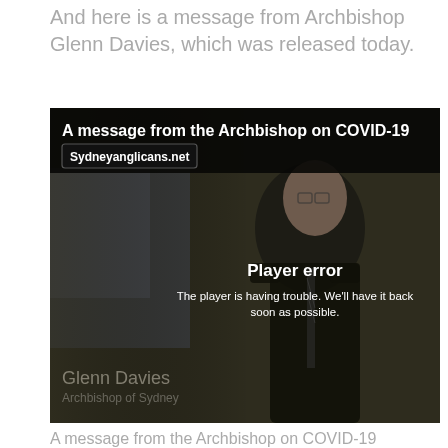And here is a message from Archbishop Glenn Davies, which was released today.
[Figure (screenshot): A video player screenshot showing 'A message from the Archbishop on COVID-19' from Sydneyanglicans.net, featuring Archbishop Glenn Davies. A player error message reads: 'Player error. The player is having trouble. We'll have it back soon as possible.']
A message from the Archbishop on COVID-19